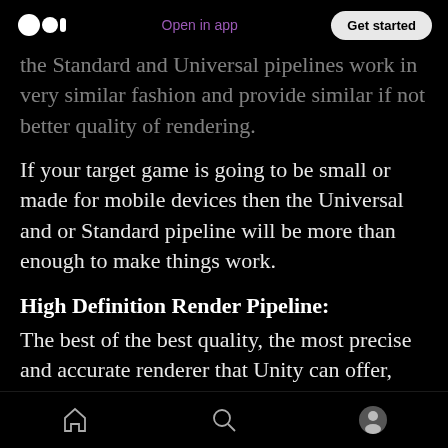Open in app | Get started
the Standard and Universal pipelines work in very similar fashion and provide similar if not better quality of rendering.
If your target game is going to be small or made for mobile devices then the Universal and or Standard pipeline will be more than enough to make things work.
High Definition Render Pipeline:
The best of the best quality, the most precise and accurate renderer that Unity can offer, will be the HDRP. The HDRP is mainly used for big triple A
Home | Search | Profile